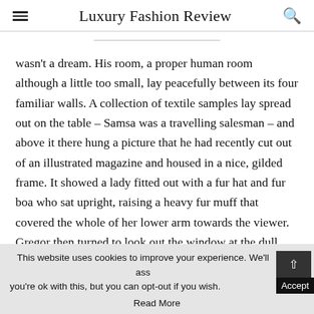Luxury Fashion Review
wasn't a dream. His room, a proper human room although a little too small, lay peacefully between its four familiar walls. A collection of textile samples lay spread out on the table – Samsa was a travelling salesman – and above it there hung a picture that he had recently cut out of an illustrated magazine and housed in a nice, gilded frame. It showed a lady fitted out with a fur hat and fur boa who sat upright, raising a heavy fur muff that covered the whole of her lower arm towards the viewer. Gregor then turned to look out the window at the dull
This website uses cookies to improve your experience. We'll ass you're ok with this, but you can opt-out if you wish. Accept. Read More